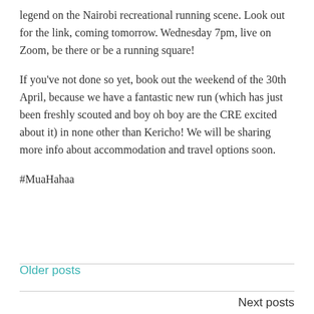legend on the Nairobi recreational running scene. Look out for the link, coming tomorrow. Wednesday 7pm, live on Zoom, be there or be a running square!
If you've not done so yet, book out the weekend of the 30th April, because we have a fantastic new run (which has just been freshly scouted and boy oh boy are the CRE excited about it) in none other than Kericho! We will be sharing more info about accommodation and travel options soon.
#MuaHahaa
Older posts
Next posts